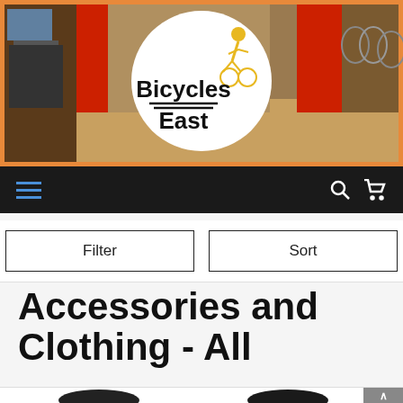[Figure (photo): Bicycles East store interior banner with orange border and white circular logo reading 'Bicycles East' with a cyclist figure]
Navigation bar with hamburger menu (blue lines), search icon, and cart icon on black background
Filter
Sort
Accessories and Clothing - All
[Figure (photo): Bottom edge of page showing two dark product items (likely bike accessories) partially visible]